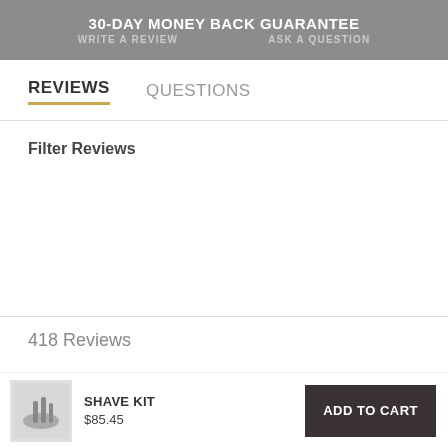30-DAY MONEY BACK GUARANTEE
WRITE A REVIEW    ASK A QUESTION
REVIEWS    QUESTIONS
Filter Reviews
Search Reviews
More Filters
418 Reviews
SHAVE KIT
$85.45
ADD TO CART